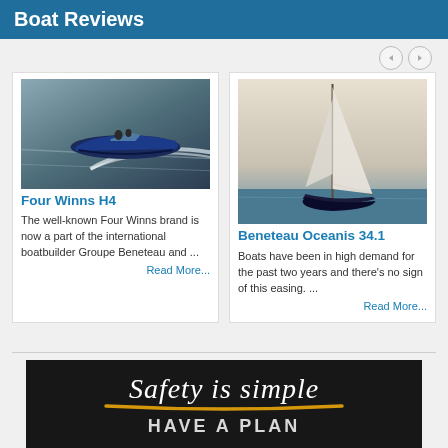Boat Reviews
[Figure (photo): Aerial photo of a Four Winns H4 powerboat speeding across open water]
Four Winns H4
The well-known Four Winns brand is now a part of the international boatbuilder Groupe Beneteau and ...
Read More...
[Figure (photo): Photo of a Beneteau Oceanis 34.1 sailboat with full sails on open water]
Beneteau Oceanis 34.1
Boats have been in high demand for the past two years and there's no sign of this easing. ...
Read More...
[Figure (illustration): Advertisement banner with text 'Safety is simple HAVE A PLAN' on dark background with gold underline]